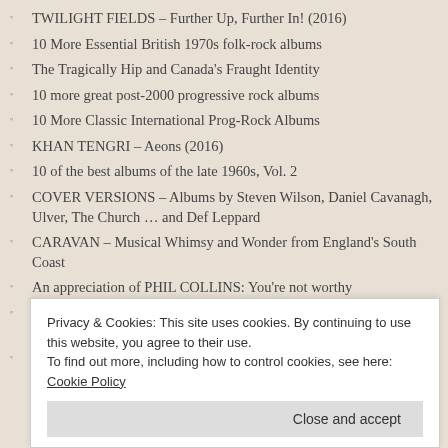TWILIGHT FIELDS – Further Up, Further In! (2016)
10 More Essential British 1970s folk-rock albums
The Tragically Hip and Canada's Fraught Identity
10 more great post-2000 progressive rock albums
10 More Classic International Prog-Rock Albums
KHAN TENGRI – Aeons (2016)
10 of the best albums of the late 1960s, Vol. 2
COVER VERSIONS – Albums by Steven Wilson, Daniel Cavanagh, Ulver, The Church … and Def Leppard
CARAVAN – Musical Whimsy and Wonder from England's South Coast
An appreciation of PHIL COLLINS: You're not worthy
GILES JACOBS AND WOLFGANG MERX – I Have Fought! (2015)
CONCERT REVIEW: The Church in Toronto, August 7, 2015
Privacy & Cookies: This site uses cookies. By continuing to use this website, you agree to their use. To find out more, including how to control cookies, see here: Cookie Policy
Close and accept